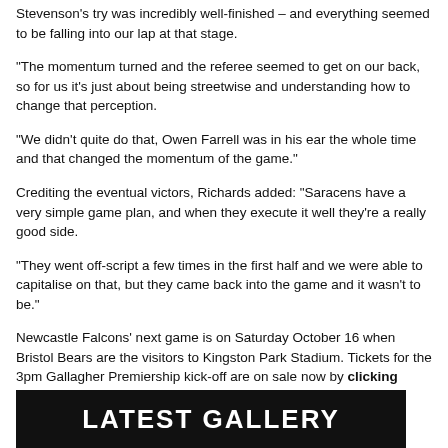Stevenson's try was incredibly well-finished – and everything seemed to be falling into our lap at that stage.
“The momentum turned and the referee seemed to get on our back, so for us it’s just about being streetwise and understanding how to change that perception.
“We didn’t quite do that, Owen Farrell was in his ear the whole time and that changed the momentum of the game.”
Crediting the eventual victors, Richards added: “Saracens have a very simple game plan, and when they execute it well they’re a really good side.
“They went off-script a few times in the first half and we were able to capitalise on that, but they came back into the game and it wasn’t to be.”
Newcastle Falcons’ next game is on Saturday October 16 when Bristol Bears are the visitors to Kingston Park Stadium. Tickets for the 3pm Gallagher Premiership kick-off are on sale now by clicking here.
LATEST GALLERY